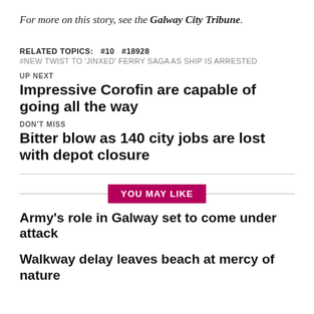For more on this story, see the Galway City Tribune.
RELATED TOPICS:  #10  #18928
#NEW TWIST TO 'JINXED' FERRY SAGA AS SHIP IS ARRESTED
UP NEXT
Impressive Corofin are capable of going all the way
DON'T MISS
Bitter blow as 140 city jobs are lost with depot closure
YOU MAY LIKE
Army's role in Galway set to come under attack
Walkway delay leaves beach at mercy of nature